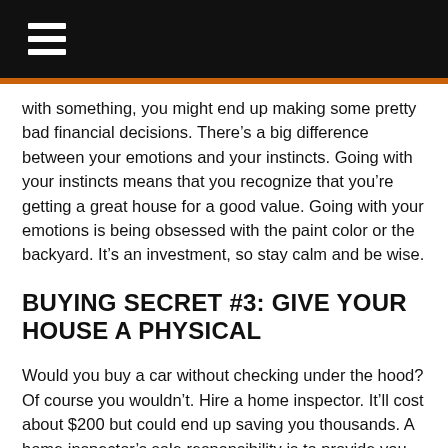≡
with something, you might end up making some pretty bad financial decisions. There's a big difference between your emotions and your instincts. Going with your instincts means that you recognize that you're getting a great house for a good value. Going with your emotions is being obsessed with the paint color or the backyard. It's an investment, so stay calm and be wise.
BUYING SECRET #3: GIVE YOUR HOUSE A PHYSICAL
Would you buy a car without checking under the hood? Of course you wouldn't. Hire a home inspector. It'll cost about $200 but could end up saving you thousands. A home inspector's sole responsibility is to provide you with information so that you can make a decision as to whether or not to buy. It's really the only way to get an unbiased third-party opinion. If the inspector does find any issues with the home, you can use it as a bargaining